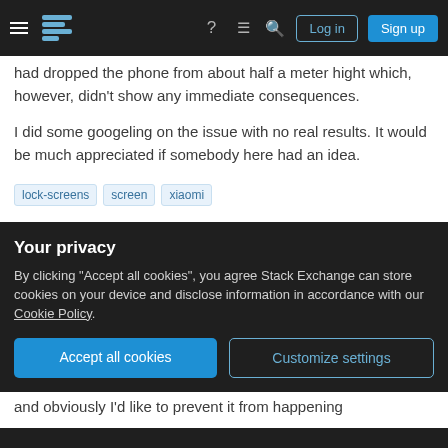Stack Exchange navigation bar with Log in and Sign up buttons
had dropped the phone from about half a meter hight which, however, didn't show any immediate consequences.

I did some googeling on the issue with no real results. It would be much appreciated if somebody here had an idea.
lock-screens
screen
xiaomi
Share
asked May 22, 2017 at 11:59
Your privacy
By clicking "Accept all cookies", you agree Stack Exchange can store cookies on your device and disclose information in accordance with our Cookie Policy.
Accept all cookies
Customize settings
and obviously I'd like to prevent it from happening